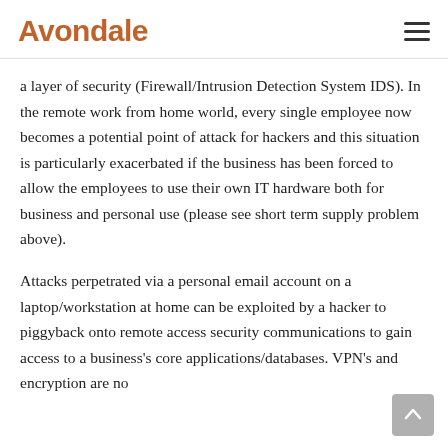Avondale
a layer of security (Firewall/Intrusion Detection System IDS). In the remote work from home world, every single employee now becomes a potential point of attack for hackers and this situation is particularly exacerbated if the business has been forced to allow the employees to use their own IT hardware both for business and personal use (please see short term supply problem above).
Attacks perpetrated via a personal email account on a laptop/workstation at home can be exploited by a hacker to piggyback onto remote access security communications to gain access to a business's core applications/databases. VPN's and encryption are no